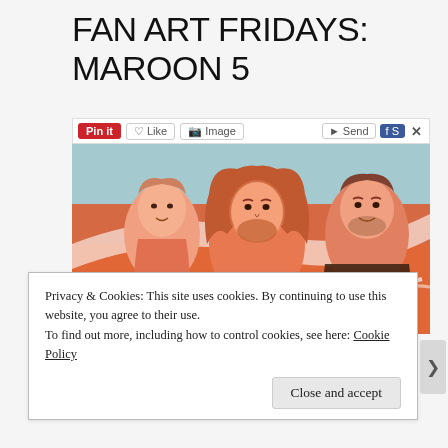FAN ART FRIDAYS: MAROON 5
[Figure (illustration): Fan art illustration of Maroon 5 band members — three figures rendered in warm red, orange and pink tones with expressive linework on a background of blue, orange and white]
Privacy & Cookies: This site uses cookies. By continuing to use this website, you agree to their use.
To find out more, including how to control cookies, see here: Cookie Policy
Close and accept